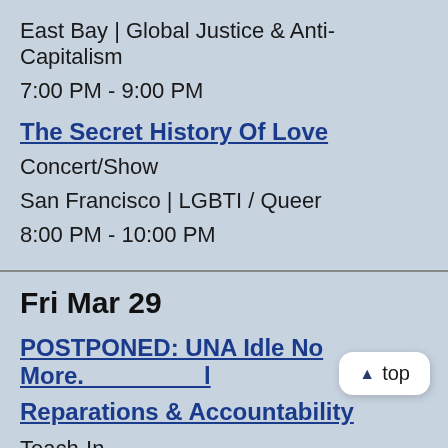East Bay | Global Justice & Anti-Capitalism
7:00 PM - 9:00 PM
The Secret History Of Love
Concert/Show
San Francisco | LGBTI / Queer
8:00 PM - 10:00 PM
Fri Mar 29
POSTPONED: UNA Idle No More. Reparations & Accountability
Teach-In